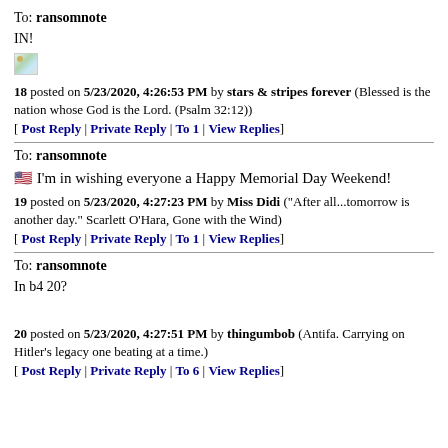To: ransomnote
IN!
[Figure (other): Broken/placeholder image icon]
18 posted on 5/23/2020, 4:26:53 PM by stars & stripes forever (Blessed is the nation whose God is the Lord. (Psalm 32:12))
[ Post Reply | Private Reply | To 1 | View Replies]
To: ransomnote
🇺🇸🇺🇸 I'm in wishing everyone a Happy Memorial Day Weekend!
19 posted on 5/23/2020, 4:27:23 PM by Miss Didi ("After all...tomorrow is another day." Scarlett O'Hara, Gone with the Wind)
[ Post Reply | Private Reply | To 1 | View Replies]
To: ransomnote
In b4 20?
20 posted on 5/23/2020, 4:27:51 PM by thingumbob (Antifa. Carrying on Hitler's legacy one beating at a time.)
[ Post Reply | Private Reply | To 6 | View Replies]